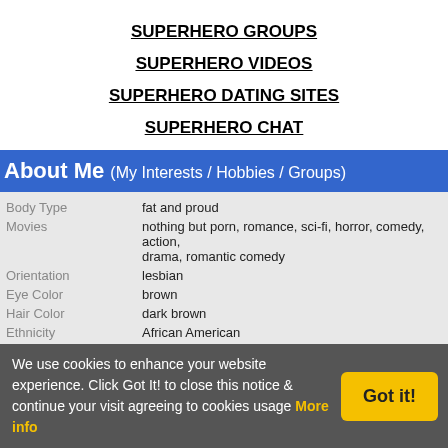SUPERHERO GROUPS
SUPERHERO VIDEOS
SUPERHERO DATING SITES
SUPERHERO CHAT
About Me  (My Interests / Hobbies / Groups)
| Field | Value |
| --- | --- |
| Body Type | fat and proud |
| Movies | nothing but porn, romance, sci-fi, horror, comedy, action, drama, romantic comedy |
| Orientation | lesbian |
| Eye Color | brown |
| Hair Color | dark brown |
| Ethnicity | African American |
| Relationship | single - never married |
We use cookies to enhance your website experience. Click Got It! to close this notice & continue your visit agreeing to cookies usage  More info